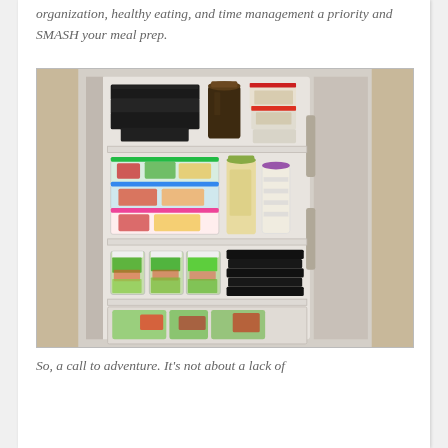organization, healthy eating, and time management a priority and SMASH your meal prep.
[Figure (photo): An open refrigerator fully stocked with meal-prepped food containers on multiple shelves: black meal prep containers, mason jars with salads, colorful lidded containers with vegetables, stacked black trays with protein, and bagged produce in the bottom crisper drawer.]
So, a call to adventure. It's not about a lack of